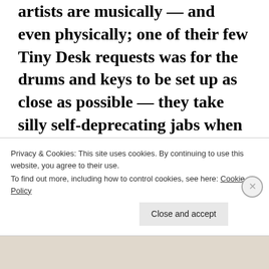artists are musically — and even physically; one of their few Tiny Desk requests was for the drums and keys to be set up as close as possible — they take silly self-deprecating jabs when they aren't playing. It's believable until they transform and the music starts.

The two musicians come from two completely different parts of the world.
Privacy & Cookies: This site uses cookies. By continuing to use this website, you agree to their use.
To find out more, including how to control cookies, see here: Cookie Policy